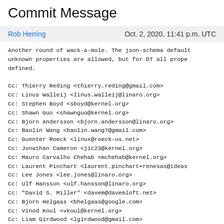Commit Message
Rob Herring		Oct. 2, 2020, 11:41 p.m. UTC
Another round of wack-a-mole. The json-schema default unknown properties are allowed, but for DT all prope defined.

Cc: Thierry Reding <thierry.reding@gmail.com>
Cc: Linus Walleij <linus.walleij@linaro.org>
Cc: Stephen Boyd <sboyd@kernel.org>
Cc: Shawn Guo <shawnguo@kernel.org>
Cc: Bjorn Andersson <bjorn.andersson@linaro.org>
Cc: Baolin Wang <baolin.wang7@gmail.com>
Cc: Guenter Roeck <linux@roeck-us.net>
Cc: Jonathan Cameron <jic23@kernel.org>
Cc: Mauro Carvalho Chehab <mchehab@kernel.org>
Cc: Laurent Pinchart <laurent.pinchart+renesas@ideas
Cc: Lee Jones <lee.jones@linaro.org>
Cc: Ulf Hansson <ulf.hansson@linaro.org>
Cc: "David S. Miller" <davem@davemloft.net>
Cc: Bjorn Helgaas <bhelgaas@google.com>
Cc: Vinod Koul <vkoul@kernel.org>
Cc: Liam Girdwood <lgirdwood@gmail.com>
Cc: Mark Brown <broonie@kernel.org>
Cc: Greg Kroah-Hartman <gregkh@linuxfoundation.org>
Cc: Daniel Lezcano <daniel.lezcano@linaro.org>
Cc: linux-clk@vger.kernel.org
Cc: dri-devel@lists.freedesktop.org